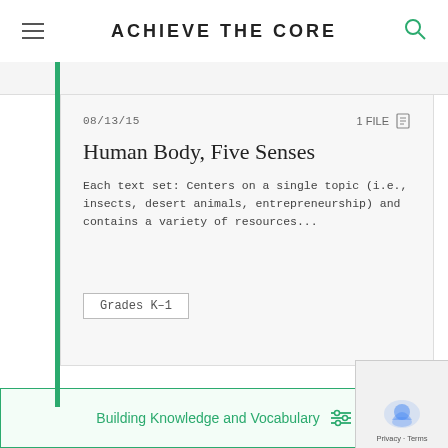ACHIEVE THE CORE
08/13/15   1 FILE
Human Body, Five Senses
Each text set:  Centers on a single topic (i.e., insects, desert animals, entrepreneurship) and contains a variety of resources...
Grades K–1
Building Knowledge and Vocabulary